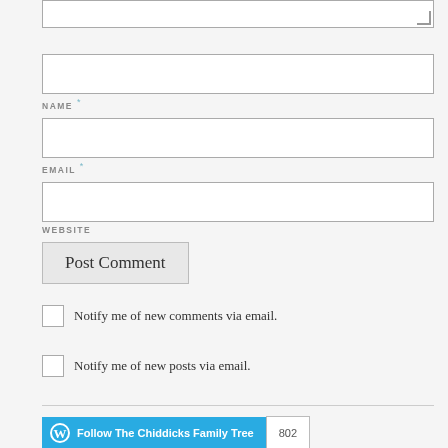[Figure (screenshot): Text area input box (top portion visible with resize handle)]
NAME *
[Figure (screenshot): Name input field]
EMAIL *
[Figure (screenshot): Email input field]
WEBSITE
[Figure (screenshot): Website input field]
[Figure (screenshot): Post Comment button]
Notify me of new comments via email.
Notify me of new posts via email.
[Figure (screenshot): Follow The Chiddicks Family Tree button with 802 followers count]